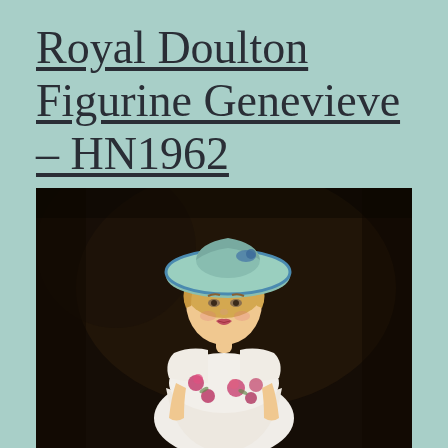Royal Doulton Figurine Genevieve – HN1962
[Figure (photo): Close-up photograph of a Royal Doulton porcelain figurine named Genevieve HN1962, depicting a young woman with blonde hair wearing a wide-brimmed green hat and a white dress with pink floral decorations, set against a dark brown background.]